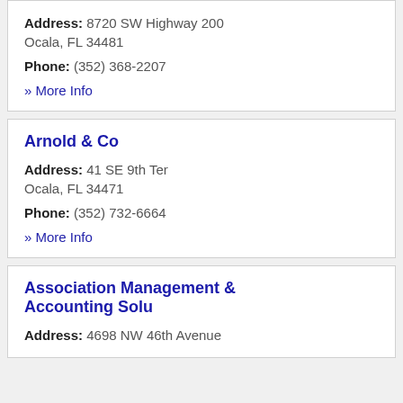Address: 8720 SW Highway 200 Ocala, FL 34481
Phone: (352) 368-2207
» More Info
Arnold & Co
Address: 41 SE 9th Ter Ocala, FL 34471
Phone: (352) 732-6664
» More Info
Association Management & Accounting Solu
Address: 4698 NW 46th Avenue